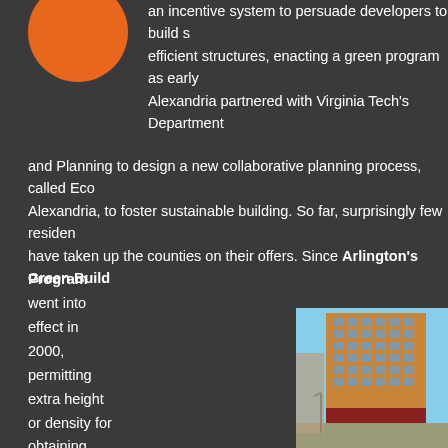[Figure (illustration): Orange circle / logo icon in top left]
an incentive system to persuade developers to build s efficient structures, enacting a green program as early Alexandria partnered with Virginia Tech's Department and Planning to design a new collaborative planning process, called Eco Alexandria, to foster sustainable building. So far, surprisingly few residen have taken up the counties on their offers. Since Arlington's Green Build Program went into effect in 2000, permitting extra height or density for obtaining LEED certification, just three residential developments in the city of Arlington have earned
[Figure (photo): Photograph of a large multi-story brick building (mixed-use development), viewed from street level at an intersection, with blue sky background.]